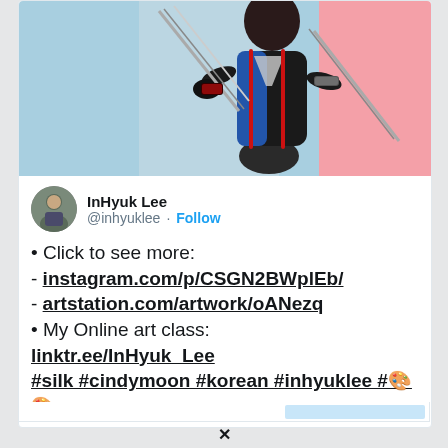[Figure (illustration): Animated character in black and blue bodysuit holding weapons, against a pink and light blue geometric background]
InHyuk Lee @inhyuklee · Follow
• Click to see more:
- instagram.com/p/CSGN2BWplEb/
- artstation.com/artwork/oANezq
• My Online art class:
linktr.ee/InHyuk_Lee
#silk #cindymoon #korean #inhyuklee #🎨
[Figure (screenshot): Bottom bar of tweet card partially visible]